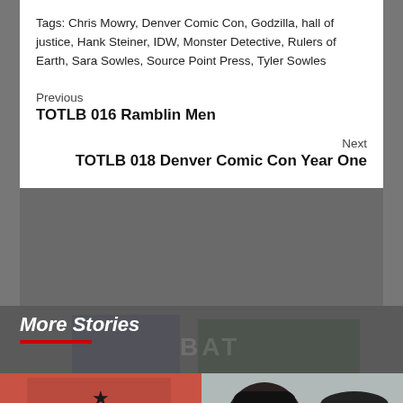Tags: Chris Mowry, Denver Comic Con, Godzilla, hall of justice, Hank Steiner, IDW, Monster Detective, Rulers of Earth, Sara Sowles, Source Point Press, Tyler Sowles
Previous
TOTLB 016 Ramblin Men
Next
TOTLB 018 Denver Comic Con Year One
More Stories
[Figure (illustration): Comic book cover or interior art showing a child with brown hair viewed from behind, standing in front of a red door with a star and circular peephole]
[Figure (photo): Photo of two people in a vehicle, one wearing blue-tinted reflective sunglasses and a dark beanie, the other wearing white sunglasses and a dark cap]